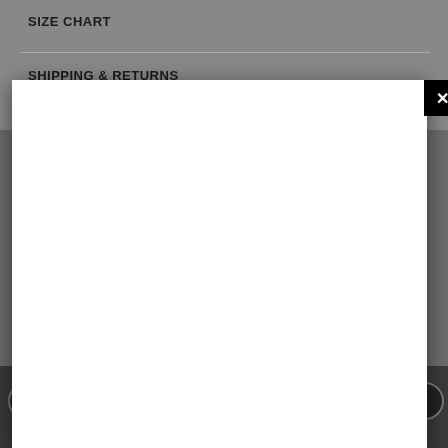SIZE CHART
SHIPPING & RETURNS
JOIN OUR MAILING LIST
Sign Up for our exclusive email list and be the first to know about new products and special offers
[Figure (screenshot): Email address input field with placeholder text]
SUBSCRIBE
[Figure (infographic): Social media icons: Facebook, Twitter, Pinterest, Instagram, Tumblr, YouTube, Vimeo]